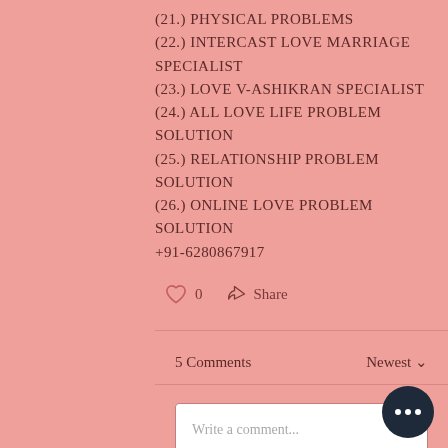(21.) PHYSICAL PROBLEMS
(22.) INTERCAST LOVE MARRIAGE SPECIALIST
(23.) LOVE V-ASHIKRAN SPECIALIST
(24.) ALL LOVE LIFE PROBLEM SOLUTION
(25.) RELATIONSHIP PROBLEM SOLUTION
(26.) ONLINE LOVE PROBLEM SOLUTION
+91-6280867917
0  Share
5 Comments  Newest
Write a comment...